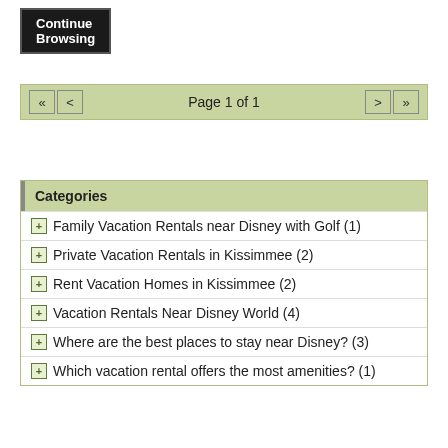[Figure (screenshot): Continue Browsing button - dark/black background with white bold text]
Page 1 of 1
Categories
Family Vacation Rentals near Disney with Golf (1)
Private Vacation Rentals in Kissimmee (2)
Rent Vacation Homes in Kissimmee (2)
Vacation Rentals Near Disney World (4)
Where are the best places to stay near Disney? (3)
Which vacation rental offers the most amenities? (1)
Search